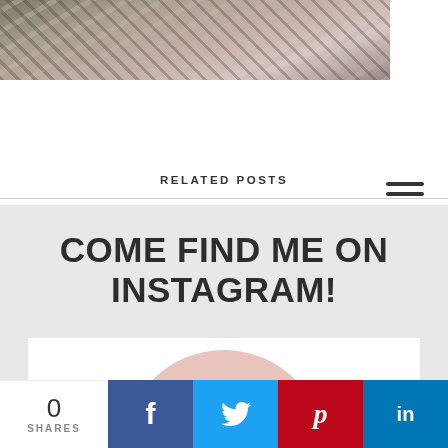[Figure (photo): Top portion of a photo showing shoes/plants on gravel background, partially visible]
[Figure (other): Hamburger menu icon (three horizontal lines) in top right]
RELATED POSTS
COME FIND ME ON INSTAGRAM!
[Figure (illustration): White card with pink circle containing text CREATE A MARRIAGE, partially visible at bottom]
0 SHARES
[Figure (other): Social share bar with Facebook, Twitter, Pinterest, LinkedIn buttons]